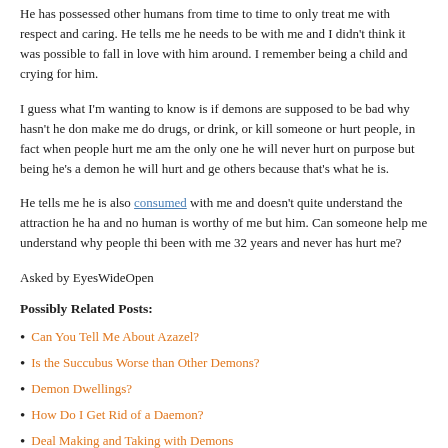He has possessed other humans from time to time to only treat me with respect and caring. He tells me he needs to be with me and I didn't think it was possible to fall in love with him around. I remember being a child and crying for him.
I guess what I'm wanting to know is if demons are supposed to be bad why hasn't he done make me do drugs, or drink, or kill someone or hurt people, in fact when people hurt me I am the only one he will never hurt on purpose but being he's a demon he will hurt and ge others because that's what he is.
He tells me he is also consumed with me and doesn't quite understand the attraction he ha and no human is worthy of me but him. Can someone help me understand why people thi been with me 32 years and never has hurt me?
Asked by EyesWideOpen
Possibly Related Posts:
Can You Tell Me About Azazel?
Is the Succubus Worse than Other Demons?
Demon Dwellings?
How Do I Get Rid of a Daemon?
Deal Making and Taking with Demons